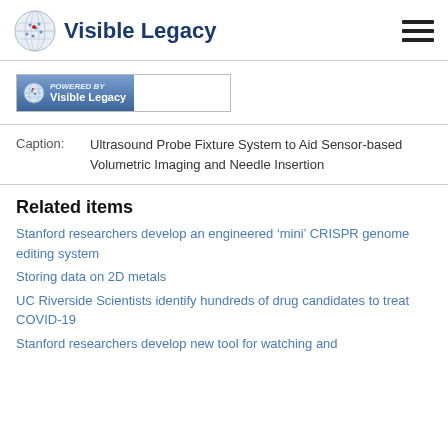Visible Legacy
[Figure (logo): Powered by Visible Legacy badge with globe icon and blue gradient background]
Caption: Ultrasound Probe Fixture System to Aid Sensor-based Volumetric Imaging and Needle Insertion
Related items
Stanford researchers develop an engineered ‘mini’ CRISPR genome editing system
Storing data on 2D metals
UC Riverside Scientists identify hundreds of drug candidates to treat COVID-19
Stanford researchers develop new tool for watching and